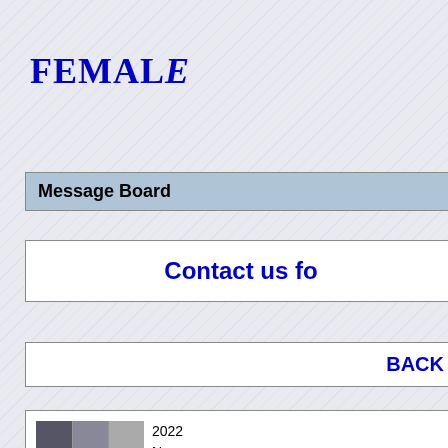FEMALE
Message Board
Contact us fo
BACK
2022
Nam
)
Web Site : https://www.c connection.com/updates
Country : Europe
Subject : "Hair Fight" - 3
Show Comment
2022/06/19 14:44
HOME
HOME ( Japanese )
Sites in Japan (Japanese)
Companies 1
Companies 2
Companies 3
Various Sites
Superior Photos
Message Board
Contact us
Records
Records ( Japanese )
Web Vids & Info
@Blogger
Close Menu